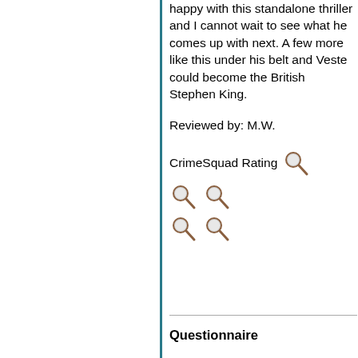happy with this standalone thriller and I cannot wait to see what he comes up with next. A few more like this under his belt and Veste could become the British Stephen King.
Reviewed by: M.W.
CrimeSquad Rating [5 magnifier icons]
Questionnaire